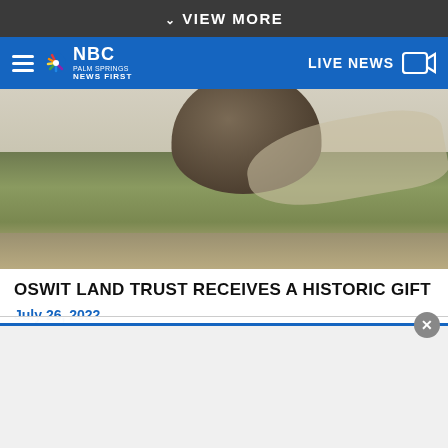VIEW MORE
[Figure (screenshot): NBC Palm Springs News First logo and navigation bar with hamburger menu on left, NBC logo in center-left, and LIVE NEWS button with camera icon on right, all on blue background]
[Figure (photo): Outdoor landscape photo showing a large dark boulder/rock formation in the upper portion, with green grass and dry dirt ground below, under a light sky]
OSWIT LAND TRUST RECEIVES A HISTORIC GIFT
July 26, 2022
By clicking “Accept All Cookies”, you agree to the storing of cookies on your device to enhance site navigation, analyze site usage, and assist in our